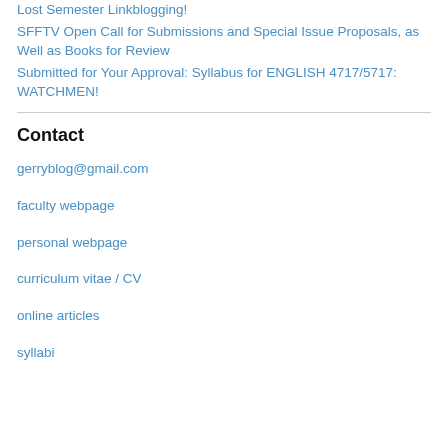Lost Semester Linkblogging!
SFFTV Open Call for Submissions and Special Issue Proposals, as Well as Books for Review
Submitted for Your Approval: Syllabus for ENGLISH 4717/5717: WATCHMEN!
Contact
gerryblog@gmail.com
faculty webpage
personal webpage
curriculum vitae / CV
online articles
syllabi